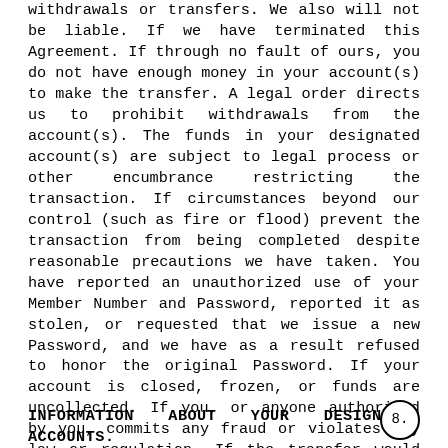withdrawals or transfers. We also will not be liable. If we have terminated this Agreement. If through no fault of ours, you do not have enough money in your account(s) to make the transfer. A legal order directs us to prohibit withdrawals from the account(s). The funds in your designated account(s) are subject to legal process or other encumbrance restricting the transaction. If circumstances beyond our control (such as fire or flood) prevent the transaction from being completed despite reasonable precautions we have taken. You have reported an unauthorized use of your Member Number and Password, reported it as stolen, or requested that we issue a new Password, and we have as a result refused to honor the original Password. If your account is closed, frozen, or funds are uncollected. If you, or anyone authorized by you, commits any fraud or violates any law or regulation. If the transfer would cause your balance to become negative or exceed the credit limit of an established line of credit loan. If any part of Online Banking is not working properly and you knew about the problem when you started the transactions. If other exceptions are introduced as provided by applicable law.
INFORMATION ABOUT YOUR DESIGNATED ACCOUNTS.